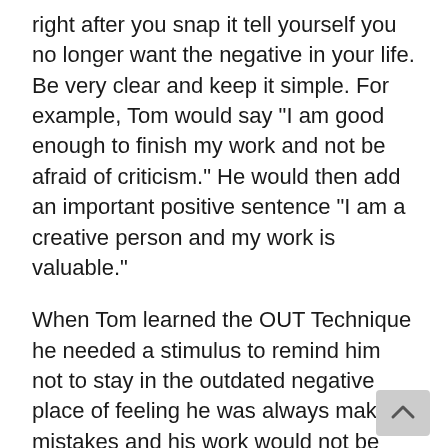right after you snap it tell yourself you no longer want the negative in your life. Be very clear and keep it simple. For example, Tom would say "I am good enough to finish my work and not be afraid of criticism." He would then add an important positive sentence "I am a creative person and my work is valuable."
When Tom learned the OUT Technique he needed a stimulus to remind him not to stay in the outdated negative place of feeling he was always making mistakes and his work would not be appreciated. That was what used to happen in school and he told me "I hate handing anything in at work, even though I am good at what I do because now I see how I am reminded of the red marks on my homework that made me feel like crap."
Memories are never truly buried and when a strong stimulus...